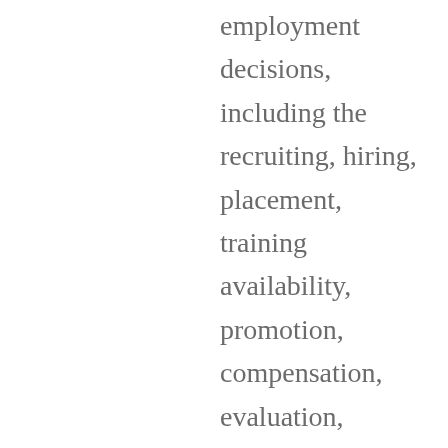employment decisions, including the recruiting, hiring, placement, training availability, promotion, compensation, evaluation, disciplinary actions, and termination of employment (if necessary) are made without regard to the employee's race, color, creed, religion, sex, pregnancy or childbirth, personal appearance, family responsibilities, sexual orientation, gender identity, political affiliation, source of income, place of residence,